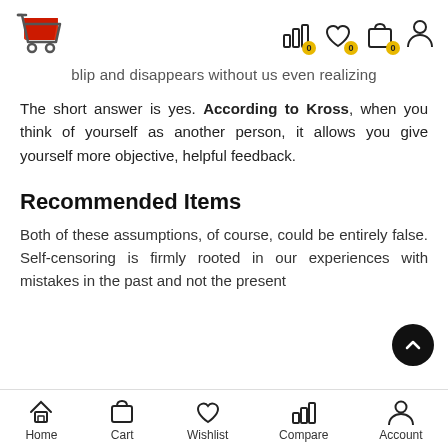blip and disappears without us even realizing
The short answer is yes. According to Kross, when you think of yourself as another person, it allows you give yourself more objective, helpful feedback.
Recommended Items
Both of these assumptions, of course, could be entirely false. Self-censoring is firmly rooted in our experiences with mistakes in the past and not the present